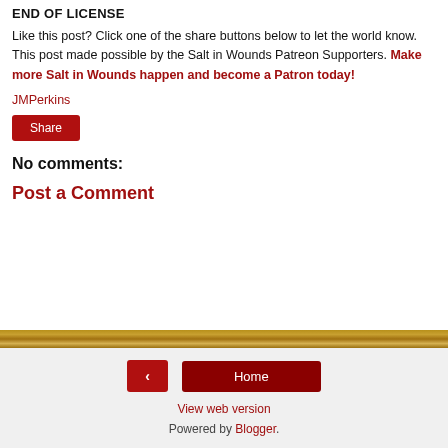END OF LICENSE
Like this post? Click one of the share buttons below to let the world know. This post made possible by the Salt in Wounds Patreon Supporters. Make more Salt in Wounds happen and become a Patron today!
JMPerkins
Share
No comments:
Post a Comment
< Home View web version Powered by Blogger.